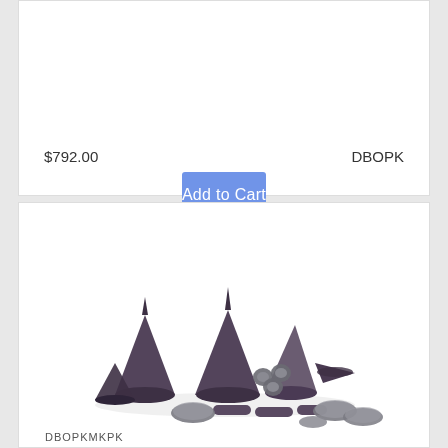$792.00    DBOPK
Add to Cart
[Figure (photo): A collection of dark gunmetal/purple spike rivets and cone-shaped studs with accompanying screw backs, laid out on a white background. Includes large cone spikes, medium cones, small spike tops, cylindrical spacers, and flat circular bases.]
DBOPKMKPK